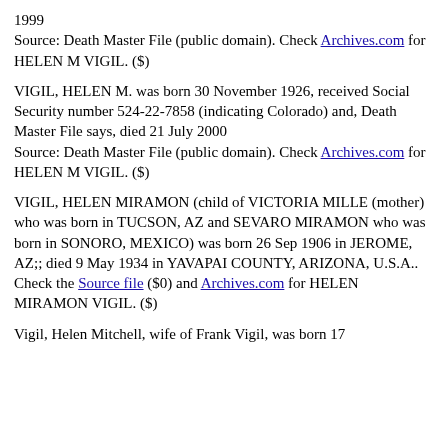1999
Source: Death Master File (public domain). Check Archives.com for HELEN M VIGIL. ($)
VIGIL, HELEN M. was born 30 November 1926, received Social Security number 524-22-7858 (indicating Colorado) and, Death Master File says, died 21 July 2000
Source: Death Master File (public domain). Check Archives.com for HELEN M VIGIL. ($)
VIGIL, HELEN MIRAMON (child of VICTORIA MILLE (mother) who was born in TUCSON, AZ and SEVARO MIRAMON who was born in SONORO, MEXICO) was born 26 Sep 1906 in JEROME, AZ;; died 9 May 1934 in YAVAPAI COUNTY, ARIZONA, U.S.A..
Check the Source file ($0) and Archives.com for HELEN MIRAMON VIGIL. ($)
Vigil, Helen Mitchell, wife of Frank Vigil, was born 17